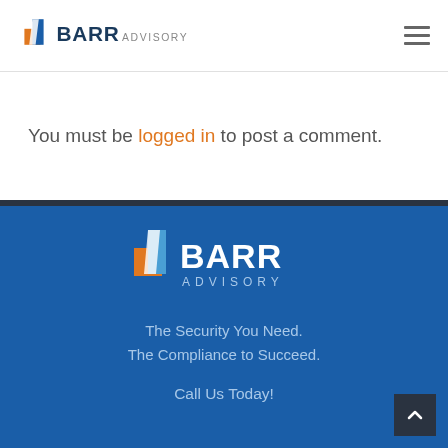[Figure (logo): BARR Advisory logo in header - cross/arrow icon in orange and blue, BARR in dark blue bold, ADVISORY in gray]
You must be logged in to post a comment.
[Figure (logo): BARR Advisory logo in footer - cross/arrow icon in orange and blue, BARR in white bold, ADVISORY in light blue on dark blue background]
The Security You Need.
The Compliance to Succeed.
Call Us Today!